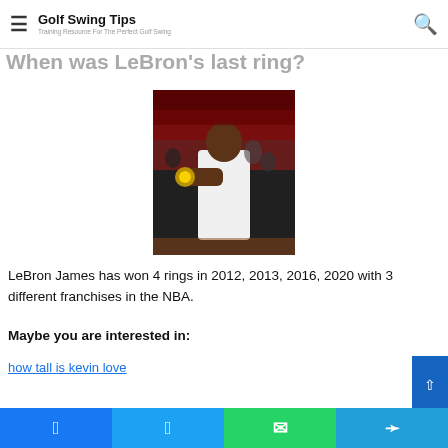Golf Swing Tips — Training Resource For The Perfect Golf Swing
When was LeBron's last ring?
[Figure (photo): LeBron James holding up a championship ring on the court after winning, crowd in background]
LeBron James has won 4 rings in 2012, 2013, 2016, 2020 with 3 different franchises in the NBA.
Maybe you are interested in:
how tall is kevin love
Facebook | Twitter | WhatsApp | Telegram